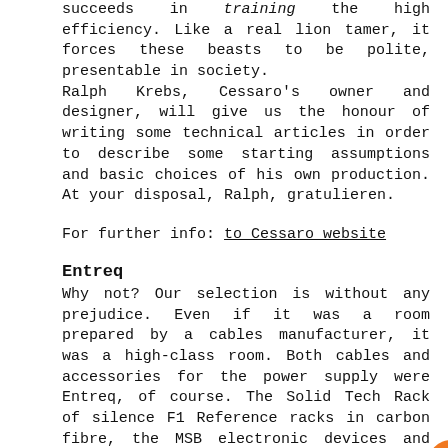succeeds in training the high efficiency. Like a real lion tamer, it forces these beasts to be polite, presentable in society.
Ralph Krebs, Cessaro's owner and designer, will give us the honour of writing some technical articles in order to describe some starting assumptions and basic choices of his own production. At your disposal, Ralph, gratulieren.
For further info: to Cessaro website
Entreq
Why not? Our selection is without any prejudice. Even if it was a room prepared by a cables manufacturer, it was a high-class room. Both cables and accessories for the power supply were Entreq, of course. The Solid Tech Rack of silence F1 Reference racks in carbon fibre, the MSB electronic devices and the SW loudspeakers completed the system.
Entreq is very attentive and sensitive to the natural components, to the way things grow in nature. You can